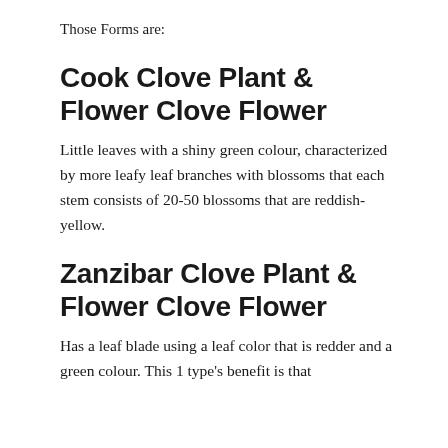Those Forms are:
Cook Clove Plant & Flower Clove Flower
Little leaves with a shiny green colour, characterized by more leafy leaf branches with blossoms that each stem consists of 20-50 blossoms that are reddish-yellow.
Zanzibar Clove Plant & Flower Clove Flower
Has a leaf blade using a leaf color that is redder and a green colour. This 1 type's benefit is that